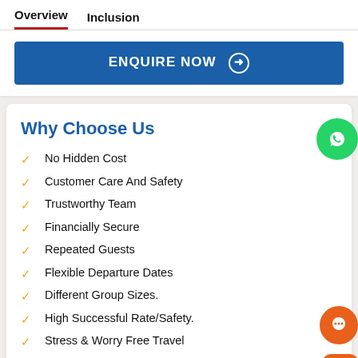Overview	Inclusion
[Figure (other): ENQUIRE NOW button with right arrow in dark blue]
Why Choose Us
No Hidden Cost
Customer Care And Safety
Trustworthy Team
Financially Secure
Repeated Guests
Flexible Departure Dates
Different Group Sizes.
High Successful Rate/Safety.
Stress & Worry Free Travel
Staffs Welfare